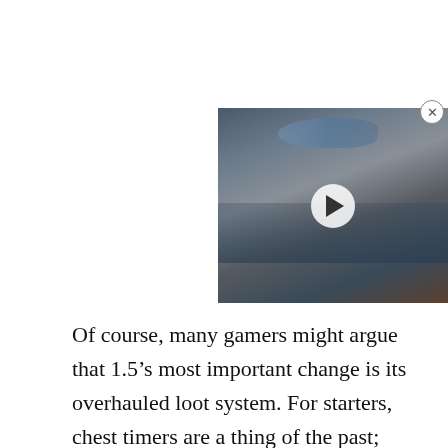[Figure (screenshot): Video thumbnail showing a rocky coastal landscape with stormy skies, a rainbow, and a ship, with a white play button overlay and a close (X) button in the top-right corner.]
Of course, many gamers might argue that 1.5’s most important change is its overhauled loot system. For starters, chest timers are a thing of the past; whenever you find a treasure chest in The Elder Scrolls: Blades, you don’t have to wait several hours to open it.